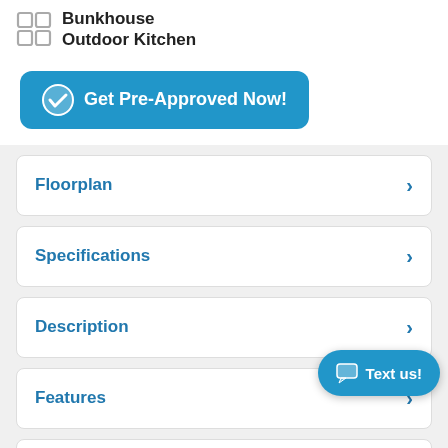Bunkhouse Outdoor Kitchen
[Figure (other): Get Pre-Approved Now! button with checkmark icon]
Floorplan
Specifications
Description
Features
[Figure (other): Text us! chat button]
Factory Brochure